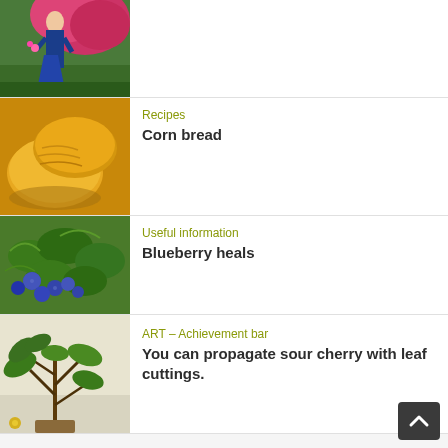[Figure (photo): Woman in blue dress standing in front of pink flowering bushes on green grass]
[Figure (photo): Close-up of golden-yellow corn bread slices]
Recipes
Corn bread
[Figure (photo): Blueberry bush with ripe blue berries and green leaves]
Useful information
Blueberry heals
[Figure (photo): Green leafy plant or small tree against a light wall]
ART – Achievement bar
You can propagate sour cherry with leaf cuttings.